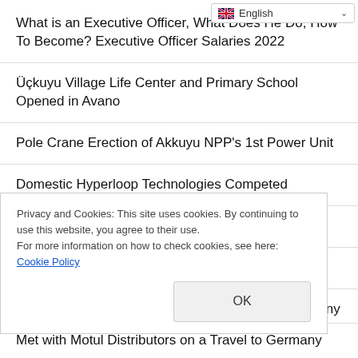[Figure (screenshot): English language selector dropdown button with flag icon and chevron]
What is an Executive Officer, What Does He Do, How To Become? Executive Officer Salaries 2022
Üçkuyu Village Life Center and Primary School Opened in Avano
Pole Crane Erection of Akkuyu NPP's 1st Power Unit
Domestic Hyperloop Technologies Competed
Elevators on the Metrobus Line are Renovated
Today in History: NASA Launches Voyager 2
Transport of Personal Goods from Turkey to Germany BIRLIK Logistics
Privacy and Cookies: This site uses cookies. By continuing to use this website, you agree to their use.
For more information on how to check cookies, see here: Cookie Policy
Met with Motul Distributors on a Travel to Germany